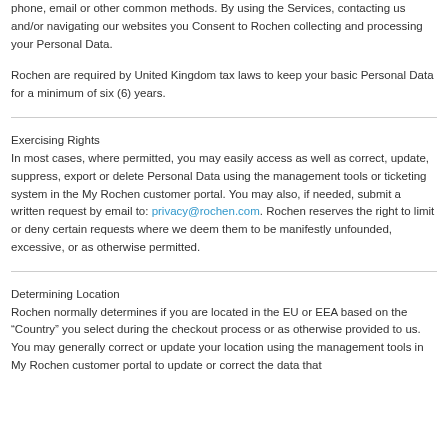phone, email or other common methods. By using the Services, contacting us and/or navigating our websites you Consent to Rochen collecting and processing your Personal Data.
Rochen are required by United Kingdom tax laws to keep your basic Personal Data for a minimum of six (6) years.
Exercising Rights
In most cases, where permitted, you may easily access as well as correct, update, suppress, export or delete Personal Data using the management tools or ticketing system in the My Rochen customer portal. You may also, if needed, submit a written request by email to: privacy@rochen.com. Rochen reserves the right to limit or deny certain requests where we deem them to be manifestly unfounded, excessive, or as otherwise permitted.
Determining Location
Rochen normally determines if you are located in the EU or EEA based on the “Country” you select during the checkout process or as otherwise provided to us. You may generally correct or update your location using the management tools in My Rochen customer portal to update or correct the data that